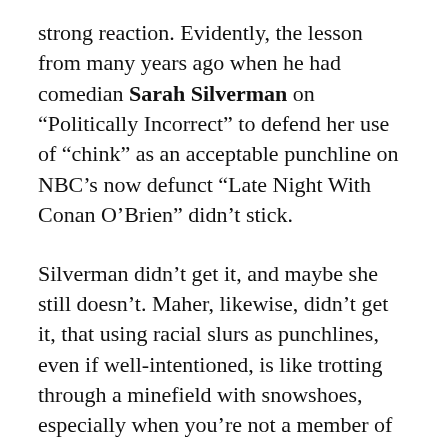strong reaction. Evidently, the lesson from many years ago when he had comedian Sarah Silverman on “Politically Incorrect” to defend her use of “chink” as an acceptable punchline on NBC’s now defunct “Late Night With Conan O’Brien” didn’t stick.
Silverman didn’t get it, and maybe she still doesn’t. Maher, likewise, didn’t get it, that using racial slurs as punchlines, even if well-intentioned, is like trotting through a minefield with snowshoes, especially when you’re not a member of that group. I’d even go a bit further and say that even when you are a member of that group, you’d better